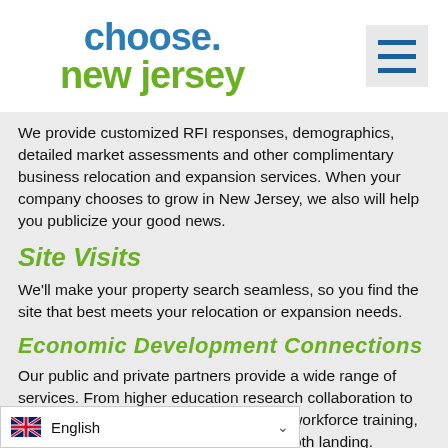[Figure (logo): Choose New Jersey logo with blue 'choose.' text and green 'new jersey' text, plus a hamburger menu icon]
We provide customized RFI responses, demographics, detailed market assessments and other complimentary business relocation and expansion services. When your company chooses to grow in New Jersey, we also will help you publicize your good news.
Site Visits
We'll make your property search seamless, so you find the site that best meets your relocation or expansion needs.
Economic Development Connections
Our public and private partners provide a wide range of services. From higher education research collaboration to regulatory and legal assistance to workforce training, the smooth landing.